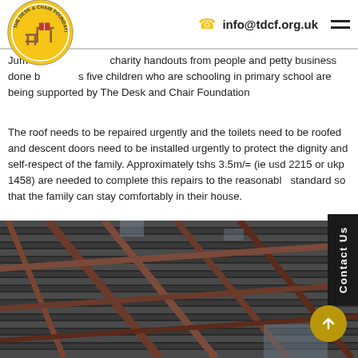info@tdcf.org.uk
Jum charity handouts from people and petty business done b...s five children who are schooling in primary school are being supported by The Desk and Chair Foundation
The roof needs to be repaired urgently and the toilets need to be roofed and descent doors need to be installed urgently to protect the dignity and self-respect of the family. Approximately tshs 3.5m/= (ie usd 2215 or ukp 1458) are needed to complete this repairs to the reasonable standard so that the family can stay comfortably in their house.
TDCF and Mr Mniko are very thankful for BETA charitable trust. Fu... information will follow once the project starts and it finishes soo...
[Figure (photo): Interior view of a damaged roof showing corrugated metal sheets and wooden beams/rafters from inside the house]